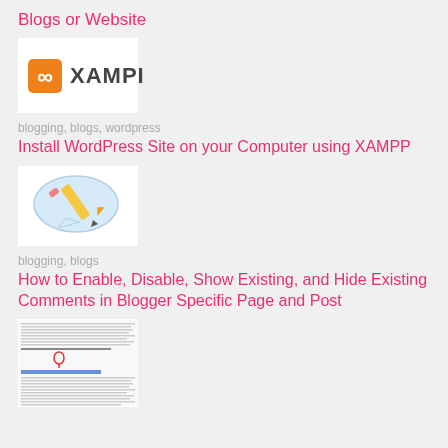Blogs or Website
[Figure (logo): XAMPP logo with orange icon and bold text 'XAMPI']
blogging, blogs, wordpress
Install WordPress Site on your Computer using XAMPP
[Figure (illustration): Pencil writing in a speech bubble illustration]
blogging, blogs
How to Enable, Disable, Show Existing, and Hide Existing Comments in Blogger Specific Page and Post
[Figure (screenshot): Screenshot of a blog post with text content, a red circle/pin marker, and a blue highlighted link]